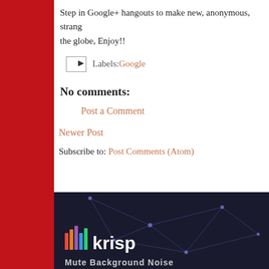Step in Google+ hangouts to make new, anonymous, strange friends across the globe, Enjoy!!
Labels: Google
No comments:
Post a Comment
Newer Post
Subscribe to: Post Comments (Atom)
[Figure (illustration): Krisp app advertisement banner with dark background, network graph lines, colorful bar chart logo, and text 'krisp' and 'Mute Background Noise']